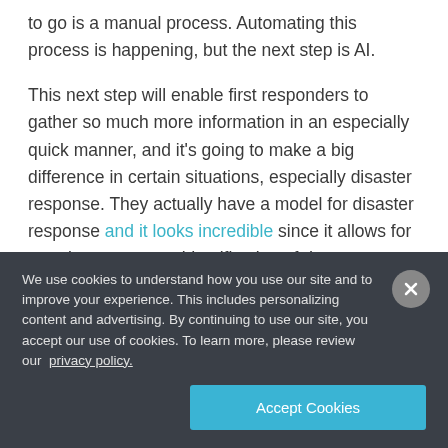to go is a manual process. Automating this process is happening, but the next step is AI.
This next step will enable first responders to gather so much more information in an especially quick manner, and it's going to make a big difference in certain situations, especially disaster response. They actually have a model for disaster response and it looks incredible since it allows for near instantaneous identification of damage so first responders can
We use cookies to understand how you use our site and to improve your experience. This includes personalizing content and advertising. By continuing to use our site, you accept our use of cookies. To learn more, please review our privacy policy.